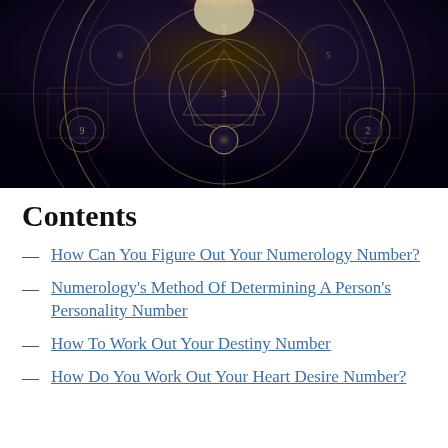[Figure (illustration): Dark mystical numerology-themed image showing a glowing geometric mandala with circles, triangles, and numerological symbols/numbers arranged in a complex wheel pattern against a dark background, with golden light at the center top.]
Contents
How Can You Figure Out Your Numerology Number?
Numerology's Method Of Determining A Person's Personality Number
How To Work Out Your Destiny Number
How Do You Work Out Your Heart Desire Number?